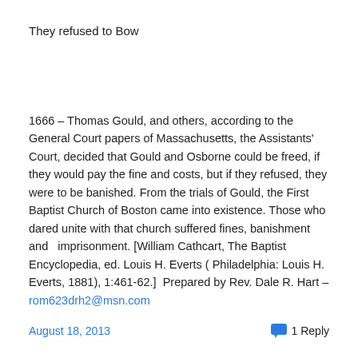They refused to Bow
1666 – Thomas Gould, and others, according to the General Court papers of Massachusetts, the Assistants' Court, decided that Gould and Osborne could be freed, if they would pay the fine and costs, but if they refused, they were to be banished. From the trials of Gould, the First Baptist Church of Boston came into existence. Those who dared unite with that church suffered fines, banishment and  imprisonment. [William Cathcart, The Baptist Encyclopedia, ed. Louis H. Everts ( Philadelphia: Louis H. Everts, 1881), 1:461-62.]  Prepared by Rev. Dale R. Hart – rom623drh2@msn.com
August 18, 2013   1 Reply